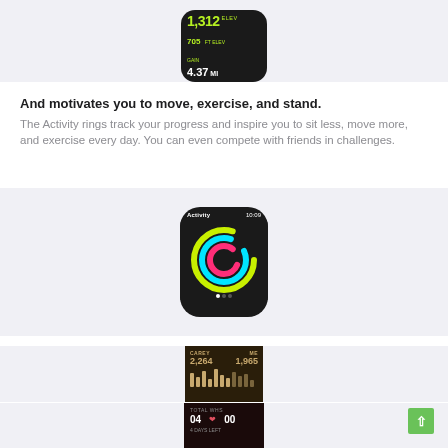[Figure (photo): Apple Watch showing elevation stats: 1,312 ELEV, 705 FT ELEV GAIN, 4.37 MI on a dark screen with green band]
And motivates you to move, exercise, and stand. The Activity rings track your progress and inspire you to sit less, move more, and exercise every day. You can even compete with friends in challenges.
[Figure (photo): Apple Watch showing Activity rings app with colorful rings (pink, cyan, yellow-green) on black screen, time 10:09, with silver woven loop band]
[Figure (photo): Apple Watch showing competition screen with CAREY 2,264 and ME 1,965 with bar graphs in gold color on dark background]
[Figure (photo): Apple Watch showing TOTAL WHS 04 and 00 with 4 DAYS LEFT text on dark reddish background]